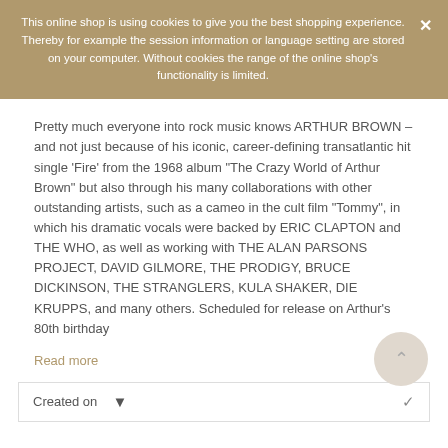This online shop is using cookies to give you the best shopping experience. Thereby for example the session information or language setting are stored on your computer. Without cookies the range of the online shop's functionality is limited.
Pretty much everyone into rock music knows ARTHUR BROWN – and not just because of his iconic, career-defining transatlantic hit single 'Fire' from the 1968 album "The Crazy World of Arthur Brown" but also through his many collaborations with other outstanding artists, such as a cameo in the cult film "Tommy", in which his dramatic vocals were backed by ERIC CLAPTON and THE WHO, as well as working with THE ALAN PARSONS PROJECT, DAVID GILMORE, THE PRODIGY, BRUCE DICKINSON, THE STRANGLERS, KULA SHAKER, DIE KRUPPS, and many others. Scheduled for release on Arthur's 80th birthday
Read more
Created on